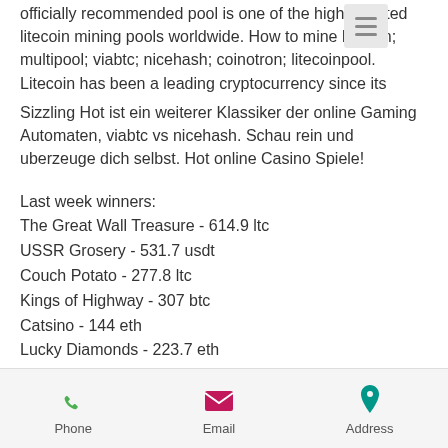officially recommended pool is one of the highest-rated litecoin mining pools worldwide. How to mine litecoin; multipool; viabtc; nicehash; coinotron; litecoinpool. Litecoin has been a leading cryptocurrency since its
Sizzling Hot ist ein weiterer Klassiker der online Gaming Automaten, viabtc vs nicehash. Schau rein und uberzeuge dich selbst. Hot online Casino Spiele!
Last week winners:
The Great Wall Treasure - 614.9 ltc
USSR Grosery - 531.7 usdt
Couch Potato - 277.8 ltc
Kings of Highway - 307 btc
Catsino - 144 eth
Lucky Diamonds - 223.7 eth
Bloopers - 74 ltc
Phone   Email   Address